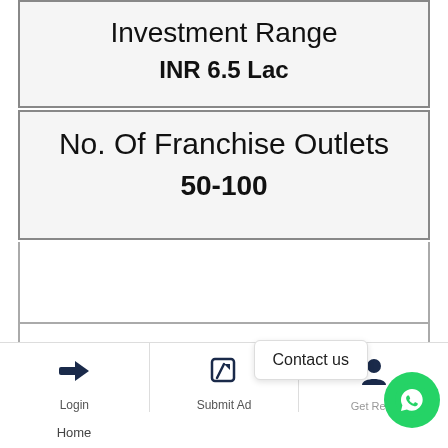Investment Range
INR 6.5 Lac
No. Of Franchise Outlets
50-100
Business Details
Login | Submit Ad | Contact us | Home